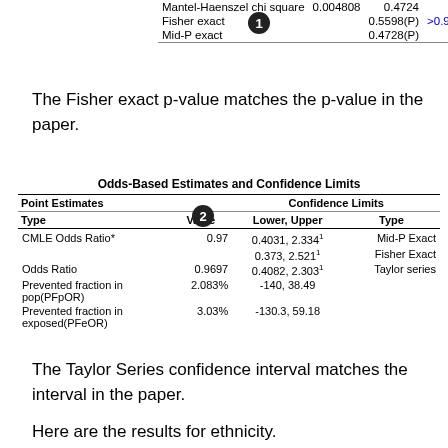|  |  |  |  |
| --- | --- | --- | --- |
| Mantel-Haenszel chi square | 0.004808 | 0.4724 | 0.9447 |
| Fisher exact |  | 0.5598(P) | >0.9999999 |
| Mid-P exact |  | 0.4728(P) | 0.9456 |
The Fisher exact p-value matches the p-value in the paper.
| Type | Value | Lower, Upper | Type |
| --- | --- | --- | --- |
| CMLE Odds Ratio* | 0.97 | 0.4031, 2.334¹ | Mid-P Exact |
|  |  | 0.373, 2.521¹ | Fisher Exact |
| Odds Ratio | 0.9697 | 0.4082, 2.303¹ | Taylor series |
| Prevented fraction in pop(PFpOR) | 2.083% | -140, 38.49 |  |
| Prevented fraction in exposed(PFeOR) | 3.03% | -130.3, 59.18 |  |
The Taylor Series confidence interval matches the interval in the paper.
Here are the results for ethnicity.